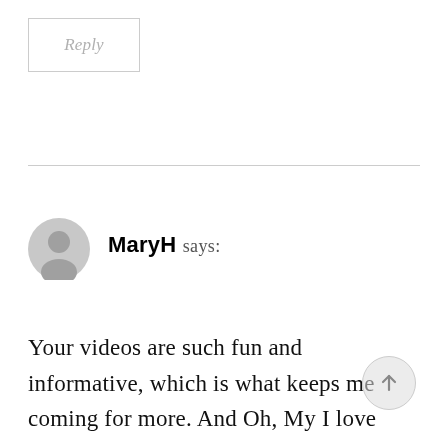Reply
MaryH says:
Your videos are such fun and informative, which is what keeps me coming for more. And Oh, My I love